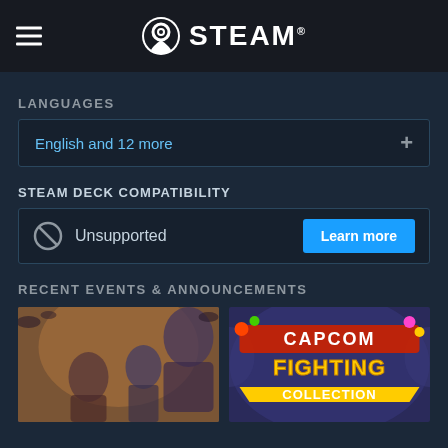STEAM
LANGUAGES
English and 12 more
STEAM DECK COMPATIBILITY
Unsupported
Learn more
RECENT EVENTS & ANNOUNCEMENTS
[Figure (illustration): Fighting game artwork showing anime-style characters]
[Figure (logo): Capcom Fighting Collection logo on purple/blue background]